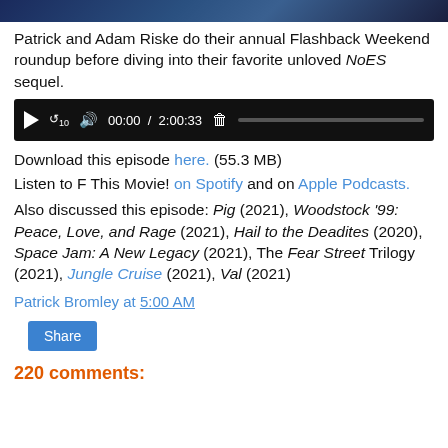[Figure (screenshot): Partial image/screenshot banner at top of page]
Patrick and Adam Riske do their annual Flashback Weekend roundup before diving into their favorite unloved NoES sequel.
[Figure (screenshot): Audio player showing 00:00 / 2:00:33]
Download this episode here. (55.3 MB)
Listen to F This Movie! on Spotify and on Apple Podcasts.
Also discussed this episode: Pig (2021), Woodstock '99: Peace, Love, and Rage (2021), Hail to the Deadites (2020), Space Jam: A New Legacy (2021), The Fear Street Trilogy (2021), Jungle Cruise (2021), Val (2021)
Patrick Bromley at 5:00 AM
Share
220 comments: